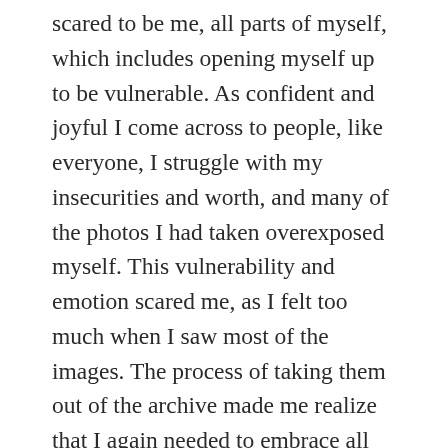scared to be me, all parts of myself, which includes opening myself up to be vulnerable. As confident and joyful I come across to people, like everyone, I struggle with my insecurities and worth, and many of the photos I had taken overexposed myself. This vulnerability and emotion scared me, as I felt too much when I saw most of the images. The process of taking them out of the archive made me realize that I again needed to embrace all parts of myself. Even the parts that I think were too sad, vulnerable, or hurt. This uncomfortableness to feel these emotions I realized was byproducts of Machismo; as a Latinx person, society conditioned me to be as “manly” as